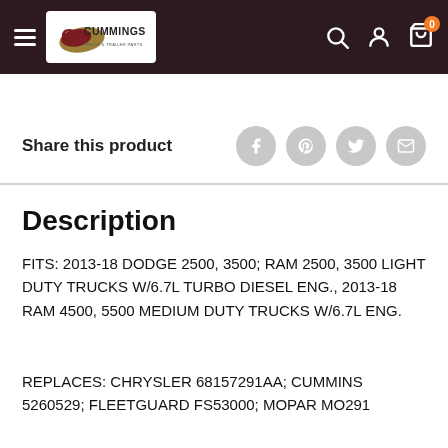[Figure (logo): Cummings Truck & Trailer Parts logo in white box within dark header bar]
Share this product
Description
FITS:  2013-18 DODGE 2500, 3500; RAM 2500, 3500 LIGHT DUTY TRUCKS W/6.7L TURBO DIESEL ENG., 2013-18 RAM 4500, 5500 MEDIUM DUTY TRUCKS W/6.7L ENG.
REPLACES:  CHRYSLER 68157291AA; CUMMINS 5260529; FLEETGUARD FS53000; MOPAR MO291